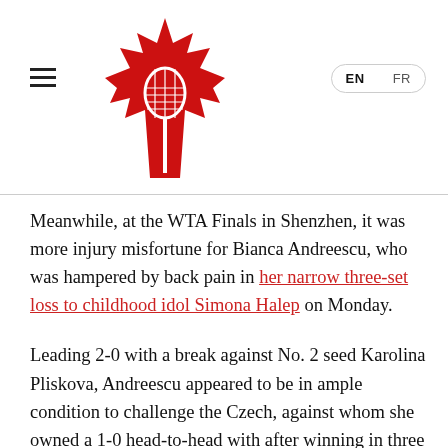[Figure (logo): Tennis Canada logo: red maple leaf with a tennis racquet overlaid, on white background]
Meanwhile, at the WTA Finals in Shenzhen, it was more injury misfortune for Bianca Andreescu, who was hampered by back pain in her narrow three-set loss to childhood idol Simona Halep on Monday.
Leading 2-0 with a break against No. 2 seed Karolina Pliskova, Andreescu appeared to be in ample condition to challenge the Czech, against whom she owned a 1-0 head-to-head with after winning in three sets at Rogers Cup in August. However, the US Open champion felt a pop in